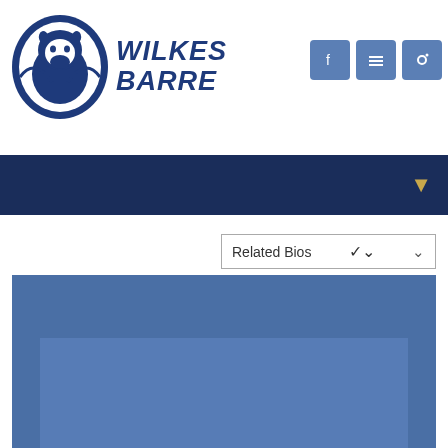[Figure (logo): Penn State Nittany Lion logo with lion head inside blue oval circle]
WILKES BARRE
[Figure (screenshot): Three blue social media icon buttons (Facebook, Twitter/X, and another) in top right corner]
[Figure (screenshot): Dark navy blue navigation bar with a downward-pointing gold/tan arrow on the right]
Related Bios
[Figure (photo): Large blue placeholder image area representing an athlete or staff photo, with a lighter blue framed rectangle at the bottom suggesting a photo within a photo]